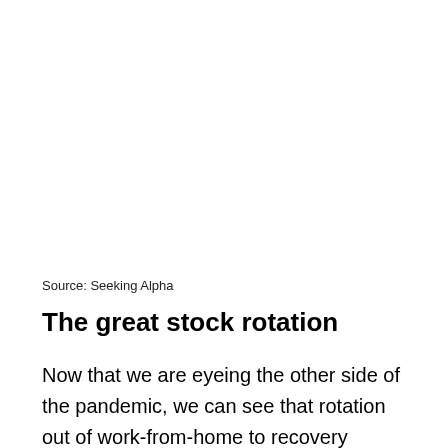Source: Seeking Alpha
The great stock rotation
Now that we are eyeing the other side of the pandemic, we can see that rotation out of work-from-home to recovery stocks and sectors. In fact, the tech stocks recently moved into a bear